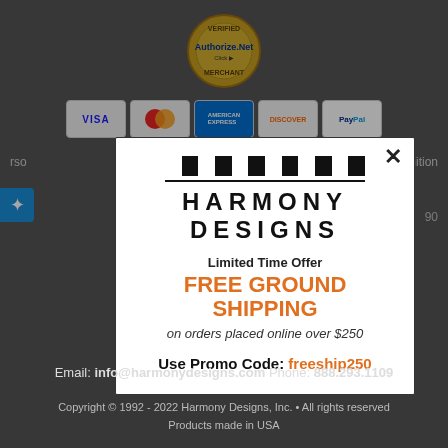[Figure (logo): Authorize.Net Verified Merchant badge at top center of dark background]
[Figure (logo): Payment card logos: Visa, Mastercard, American Express, Discover, PayPal]
[Figure (logo): Harmony Designs logo with checkerboard bar above brand name HARMONY DESIGNS]
Limited Time Offer
FREE GROUND SHIPPING
on orders placed online over $250
Use Promo Code: freeship250
Email: info@harmonydesigns.com Phone: 888.293.1109
Copyright © 1992 - 2022 Harmony Designs, Inc. • All rights reserved
Products made in USA